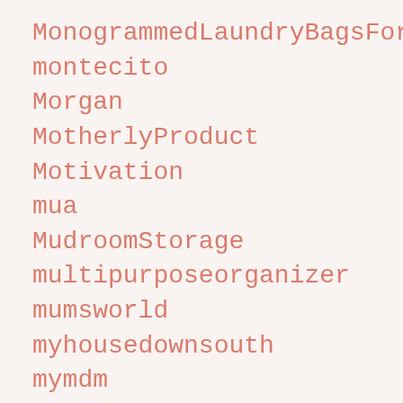MonogrammedLaundryBagsForCollege
montecito
Morgan
MotherlyProduct
Motivation
mua
MudroomStorage
multipurposeorganizer
mumsworld
myhousedownsouth
mymdm
MyPortfolio
N
NarrowConsoleTableWithDrawers